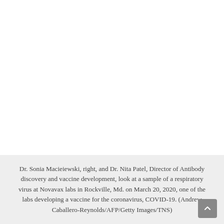[Figure (photo): Photograph area (white/blank in this view) showing lab scene at Novavax]
Dr. Sonia Macieiewski, right, and Dr. Nita Patel, Director of Antibody discovery and vaccine development, look at a sample of a respiratory virus at Novavax labs in Rockville, Md. on March 20, 2020, one of the labs developing a vaccine for the coronavirus, COVID-19. (Andrew Caballero-Reynolds/AFP/Getty Images/TNS)